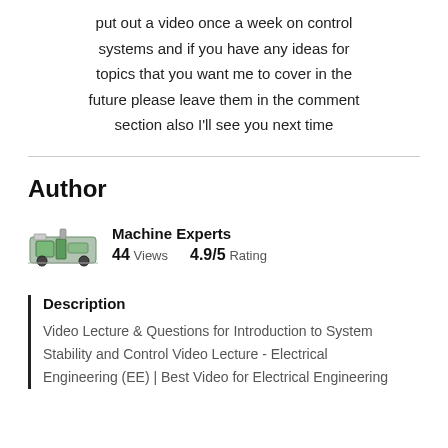put out a video once a week on control systems and if you have any ideas for topics that you want me to cover in the future please leave them in the comment section also I'll see you next time
Author
Machine Experts
44 Views    4.9/5 Rating
Description
Video Lecture & Questions for Introduction to System Stability and Control Video Lecture - Electrical Engineering (EE) | Best Video for Electrical Engineering